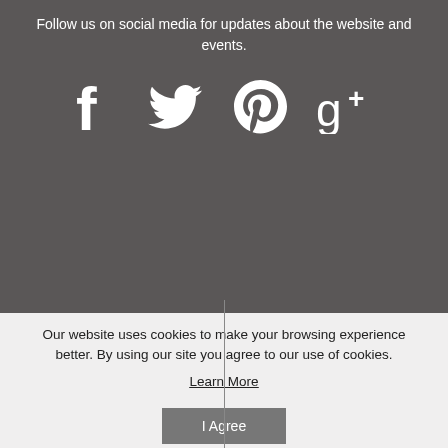Follow us on social media for updates about the website and events.
[Figure (illustration): Social media icons: Facebook, Twitter, Pinterest, Google+]
Information
My Account
About Us
My Account
Contact Us
Order History
Ordering & Shipping
Track Orders
Our website uses cookies to make your browsing experience better. By using our site you agree to our use of cookies.
Learn More
I Agree